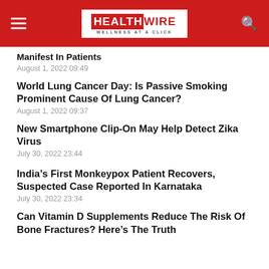HEALTHWIRE — WELLNESS AT A CLICK
Manifest In Patients
August 1, 2022 09:49
World Lung Cancer Day: Is Passive Smoking Prominent Cause Of Lung Cancer?
August 1, 2022 09:37
New Smartphone Clip-On May Help Detect Zika Virus
July 30, 2022 23:44
India's First Monkeypox Patient Recovers, Suspected Case Reported In Karnataka
July 30, 2022 23:34
Can Vitamin D Supplements Reduce The Risk Of Bone Fractures? Here's The Truth